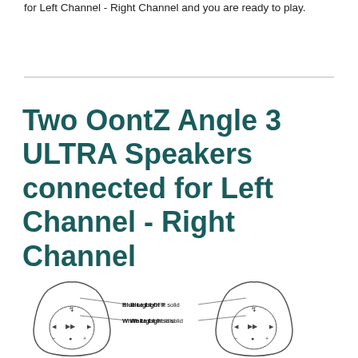for Left Channel - Right Channel and you are ready to play.
Two OontZ Angle 3 ULTRA Speakers connected for Left Channel - Right Channel
[Figure (illustration): Two OontZ Angle 3 ULTRA speaker diagrams side by side. Left speaker labeled 'Blue Light lit solid' and 'White Light lit solid'. Right speaker labeled 'Blue Light OFF' and 'White Light lit solid'.]